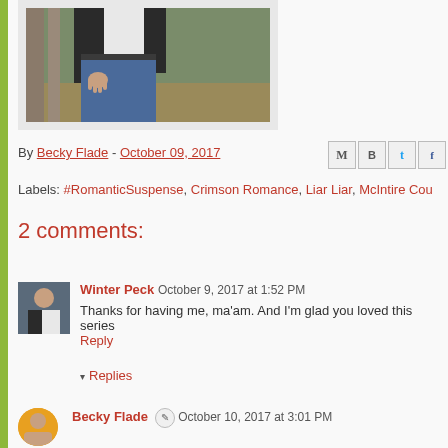[Figure (photo): Person in jeans and dark jacket standing near wooden structure outdoors]
By Becky Flade - October 09, 2017
Labels: #RomanticSuspense, Crimson Romance, Liar Liar, McIntire Cou...
2 comments:
Winter Peck October 9, 2017 at 1:52 PM
Thanks for having me, ma'am. And I'm glad you loved this series
Reply
▾ Replies
Becky Flade [edit] October 10, 2017 at 3:01 PM